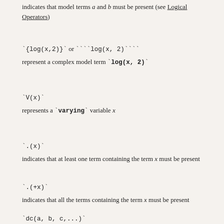indicates that model terms a and b must be present (see Logical Operators)
`{log(x,2)}` or ````log(x, 2)````
represent a complex model term `log(x, 2)`
`V(x)`
represents a `varying` variable x
`.(x)`
indicates that at least one term containing the term x must be present
`.(+x)`
indicates that all the terms containing the term x must be present
`dc(a, b, c,...)`
'dependency chain': b is allowed only if a is present, and c only if both